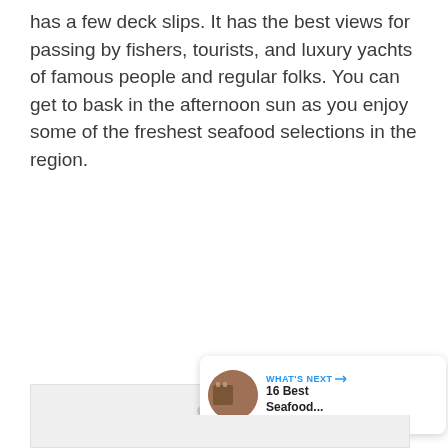has a few deck slips. It has the best views for passing by fishers, tourists, and luxury yachts of famous people and regular folks. You can get to bask in the afternoon sun as you enjoy some of the freshest seafood selections in the region.
[Figure (photo): A light gray image placeholder area with navigation dots at the bottom center, a like/heart button (blue circle, count 14), and a share button on the right side. A 'WHAT'S NEXT' card appears at the bottom right.]